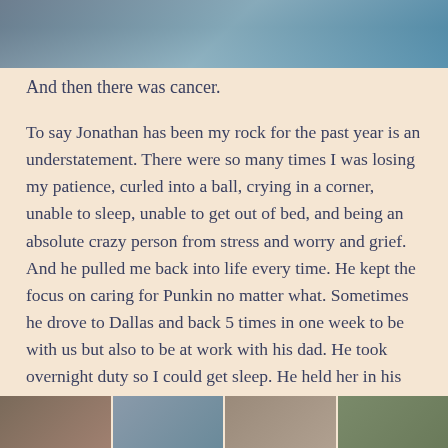[Figure (photo): Top portion of a photo showing people, partially cropped, with blue and pink clothing visible]
And then there was cancer.
To say Jonathan has been my rock for the past year is an understatement. There were so many times I was losing my patience, curled into a ball, crying in a corner, unable to sleep, unable to get out of bed, and being an absolute crazy person from stress and worry and grief. And he pulled me back into life every time. He kept the focus on caring for Punkin no matter what. Sometimes he drove to Dallas and back 5 times in one week to be with us but also to be at work with his dad. He took overnight duty so I could get sleep. He held her in his strong arms. He held me. Something that drives 80% of marriages apart-made ours stronger because he refused to give up.
[Figure (photo): Bottom strip of multiple photos side by side, partially cropped]